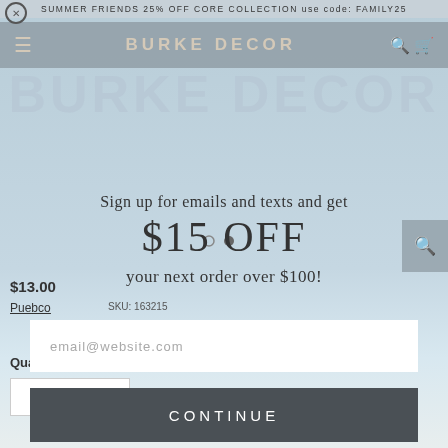SUMMER FRIENDS 25% OFF CORE COLLECTION use code: FAMILY25
BURKE DECOR
[Figure (screenshot): Burke Decor website screenshot showing navigation bar with hamburger menu, BURKE DECOR logo, search and cart icons on grey background. Below is a beach/outdoor lifestyle product photo background.]
Sign up for emails and texts and get
$15 OFF
your next order over $100!
$13.00
Puebco
SKU: 163215
Quantity
email@website.com
CONTINUE